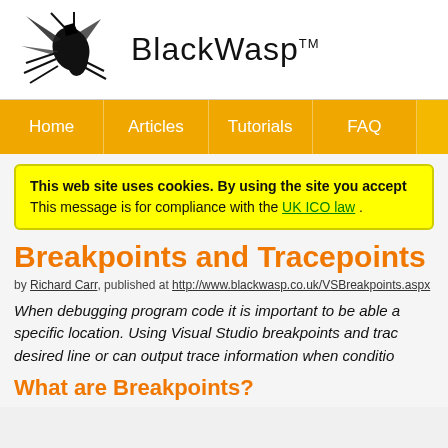[Figure (logo): BlackWasp logo with wasp illustration and site name 'BlackWasp™']
Home | Articles | Tutorials | FAQ
This web site uses cookies. By using the site you accept. This message is for compliance with the UK ICO law.
Breakpoints and Tracepoints in
by Richard Carr, published at http://www.blackwasp.co.uk/VSBreakpoints.aspx
When debugging program code it is important to be able at specific location. Using Visual Studio breakpoints and trac desired line or can output trace information when conditio
What are Breakpoints?